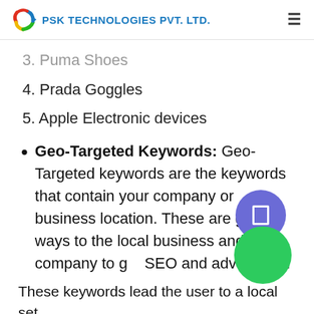PSK TECHNOLOGIES PVT. LTD.
3. Puma Shoes
4. Prada Goggles
5. Apple Electronic devices
Geo-Targeted Keywords: Geo-Targeted keywords are the keywords that contain your company or business location. These are great ways to the local business and company to get SEO and advertising.
These keywords lead the user to a local set of the results that...